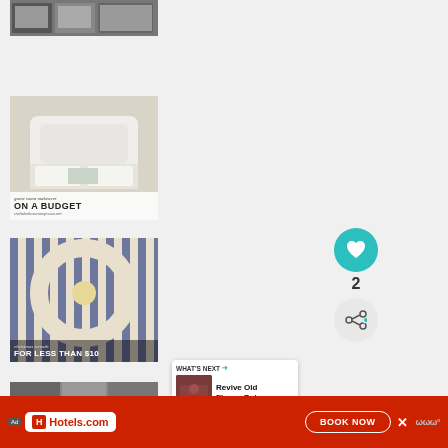[Figure (photo): Top image showing framed photos on wall, partially visible]
[Figure (photo): Guest room makeover on a budget - bedroom with white headboard]
[Figure (photo): Christmas wreath for less than $10 - blue and white striped fabric wreath]
[Figure (photo): Partially visible fourth image at bottom]
[Figure (other): Teal heart/like button with count 2 and share button]
[Figure (other): What's Next panel showing Revive Old Flower Pots...]
[Figure (other): Hotels.com advertisement banner with BOOK NOW button]